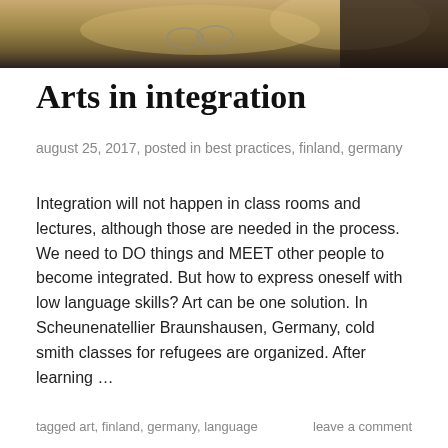[Figure (photo): Photo strip showing objects on a table, partial view]
Arts in integration
august 25, 2017, posted in best practices, finland, germany
Integration will not happen in class rooms and lectures, although those are needed in the process. We need to DO things and MEET other people to become integrated. But how to express oneself with low language skills? Art can be one solution. In Scheunenatellier Braunshausen, Germany, cold smith classes for refugees are organized. After learning …
Continue reading
tagged art, finland, germany, language     leave a comment